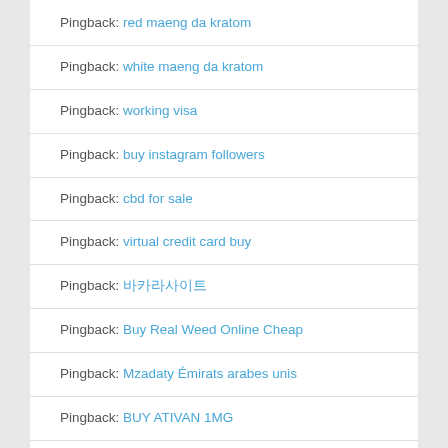Pingback: red maeng da kratom
Pingback: white maeng da kratom
Pingback: working visa
Pingback: buy instagram followers
Pingback: cbd for sale
Pingback: virtual credit card buy
Pingback: 바카라사이트
Pingback: Buy Real Weed Online Cheap
Pingback: Mzadaty Émirats arabes unis
Pingback: BUY ATIVAN 1MG